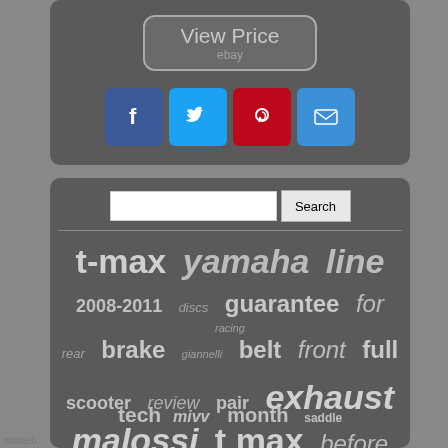[Figure (screenshot): View Price button with ebay text in a rounded rectangle on dark grey background]
[Figure (infographic): Social media share icons: Facebook (blue), Twitter (light blue), Pinterest (red), Email (blue)]
[Figure (screenshot): Search bar with Search button]
[Figure (infographic): Tag cloud with motorcycle/scooter related keywords: t-max, yamaha, line, 2008-2011, discs, guarantee, for, racing, rear, brake, giannelli, belt, front, full, scooter, review, pair, exhaust, malossi, t max, before, arrow, tech, mivv, month, saddle, complete]
misterb